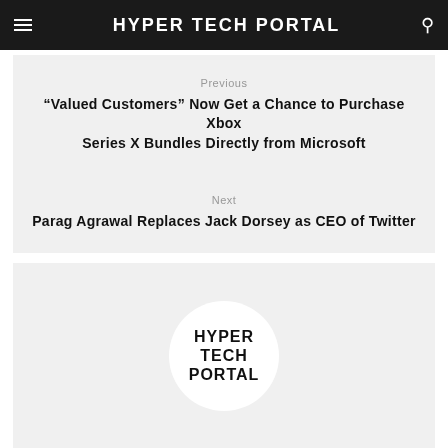HYPER TECH PORTAL
Previous
“Valued Customers” Now Get a Chance to Purchase Xbox Series X Bundles Directly from Microsoft
Next
Parag Agrawal Replaces Jack Dorsey as CEO of Twitter
[Figure (logo): Hyper Tech Portal circular logo with text HYPER TECH PORTAL in bold letters on white circle background]